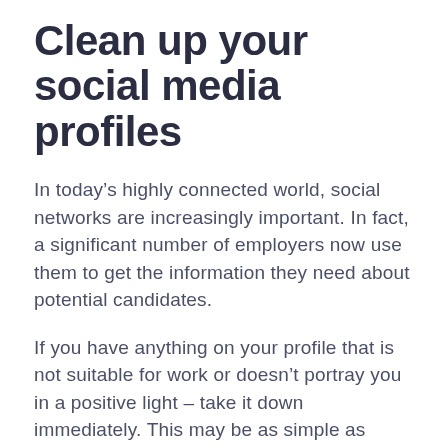Clean up your social media profiles
In today’s highly connected world, social networks are increasingly important. In fact, a significant number of employers now use them to get the information they need about potential candidates.
If you have anything on your profile that is not suitable for work or doesn’t portray you in a positive light – take it down immediately. This may be as simple as removing the photos of you drinking at a party or as severe as deleting your entire account. You should remove all inappropriate and unprofessional posts, images, tweets, and other content. You may consider your personal life to be none of anybody else’s business. Still, in the eyes of potential employers, this can jeopardise your chances